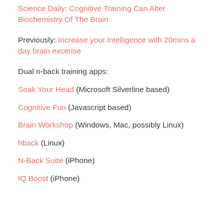Science Daily: Cognitive Training Can Alter Biochemistry Of The Brain
Previously: Increase your intelligence with 20mins a day brain excerise
Dual n-back training apps:
Soak Your Head (Microsoft Silverline based)
Cognitive Fun (Javascript based)
Brain Workshop (Windows, Mac, possibly Linux)
hback (Linux)
N-Back Suite (iPhone)
IQ Boost (iPhone)